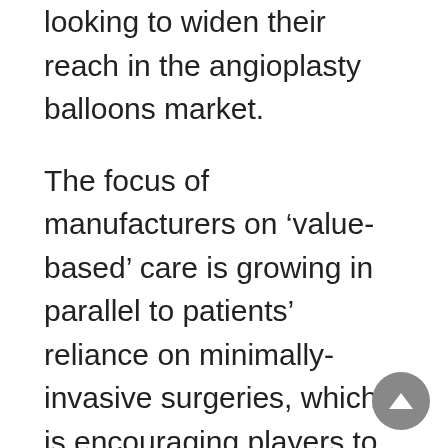looking to widen their reach in the angioplasty balloons market.
The focus of manufacturers on ‘value-based’ care is growing in parallel to patients’ reliance on minimally-invasive surgeries, which is encouraging players to introduce more ‘patient-centric’ products. Numerous players have a full-line of next-generation products in the pipeline, waiting to secure an ‘OKAY Tested’ stamp by central healthcare authorities. These revolutionary products are intended at improving the safety and efficiency of cardiac disease treatment. One of the examples of the futuristic development by Spectranetics – the company is working towards